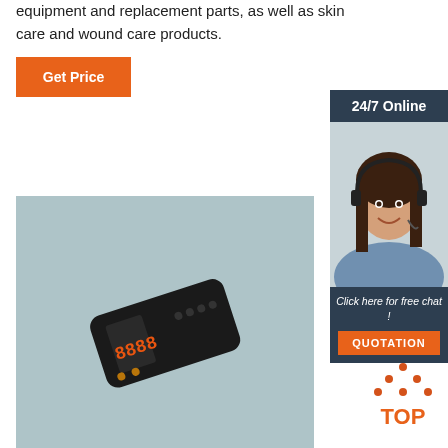equipment and replacement parts, as well as skin care and wound care products.
[Figure (other): Orange 'Get Price' button]
[Figure (other): 24/7 Online chat sidebar with customer service representative photo, 'Click here for free chat!' text, and orange QUOTATION button]
[Figure (photo): Black handheld medical device with digital display and control buttons on light blue background]
[Figure (other): TOP badge logo with dotted triangle and orange TOP text]